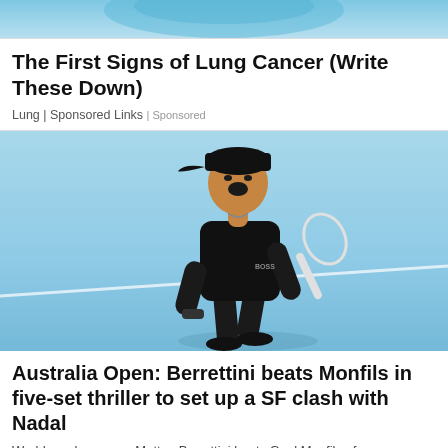[Figure (photo): Top portion of an advertisement image with light blue background, partially visible]
The First Signs of Lung Cancer (Write These Down)
Lung | Sponsored Links | Sponsored
[Figure (photo): Tennis player Matteo Berrettini wearing black outfit and cap, celebrating on a light blue court background]
Australia Open: Berrettini beats Monfils in five-set thriller to set up a SF clash with Nadal
World number seven Matteo Berrettini beats Gael Monfils of